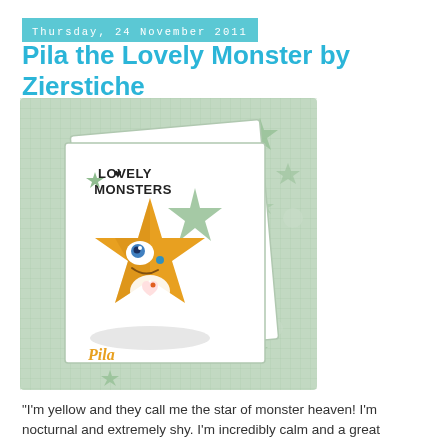Thursday, 24 November 2011
Pila the Lovely Monster by Zierstiche
[Figure (photo): A yellow star-shaped stuffed plush toy called Pila with one blue eye and a small heart on its body, displayed against a card with 'LOVELY MONSTERS' text, surrounded by green star decorations on a light green grid background.]
"I'm yellow and they call me the star of monster heaven! I'm nocturnal and extremely shy. I'm incredibly calm and a great